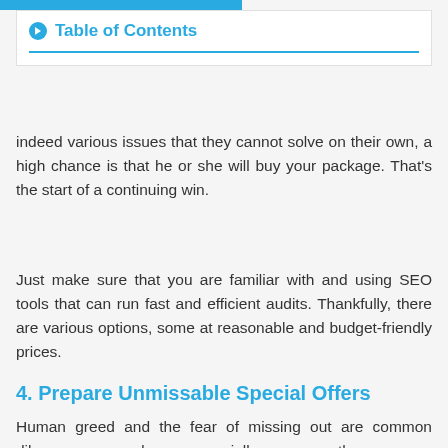Table of Contents
indeed various issues that they cannot solve on their own, a high chance is that he or she will buy your package. That’s the start of a continuing win.
Just make sure that you are familiar with and using SEO tools that can run fast and efficient audits. Thankfully, there are various options, some at reasonable and budget-friendly prices.
4. Prepare Unmissable Special Offers
Human greed and the fear of missing out are common dilemmas nowadays, especially among the younger generations. Note, however, that not